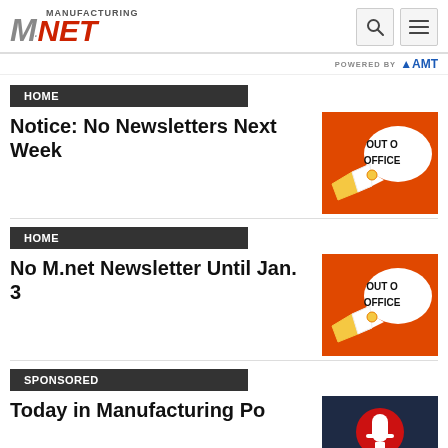Manufacturing.net
POWERED BY AMT
HOME
Notice: No Newsletters Next Week
[Figure (photo): Orange background with speech bubble saying OUT OF OFFICE and megaphones]
HOME
No M.net Newsletter Until Jan. 3
[Figure (photo): Orange background with speech bubble saying OUT OF OFFICE and megaphones]
SPONSORED
Today in Manufacturing Podcast
[Figure (photo): Dark navy background with red microphone icon]